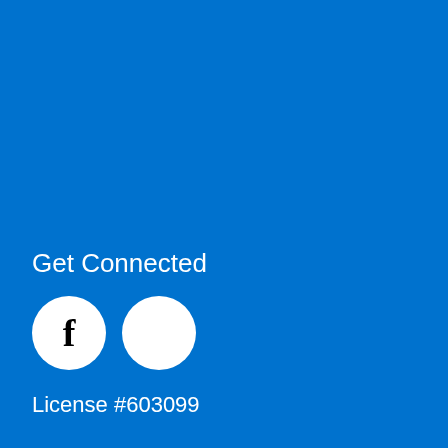Get Connected
[Figure (illustration): Two white circular social media icon buttons side by side. The first circle contains a bold black 'f' (Facebook logo). The second circle is plain white with no visible icon content.]
License #603099